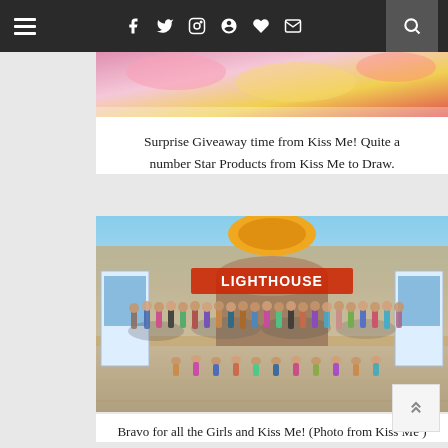Navigation bar with hamburger menu, social icons (Facebook, Twitter, Instagram, Pinterest, Heart, Mail), and search button
[Figure (photo): Top cropped image showing colorful giveaway products from Kiss Me brand]
Surprise Giveaway time from Kiss Me! Quite a number Star Products from Kiss Me to Draw.
[Figure (photo): Group photo of many girls standing in front of a building with 'LIGHTHOUSE' sign and Kiss Me product banners on both sides]
Bravo for all the Girls and Kiss Me! (Photo from Kiss Me )